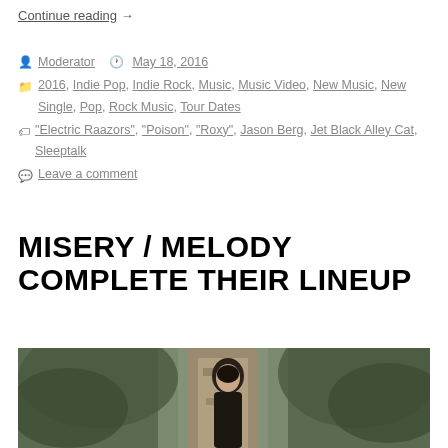Continue reading →
By Moderator  May 18, 2016  Categories: 2016, Indie Pop, Indie Rock, Music, Music Video, New Music, New Single, Pop, Rock Music, Tour Dates  Tags: "Electric Raazors", "Poison", "Roxy", Jason Berg, Jet Black Alley Cat, Sleeptalk  Leave a comment
MISERY / MELODY COMPLETE THEIR LINEUP
[Figure (photo): Photo of a man standing outdoors in front of a tree with peeling bark and foliage]